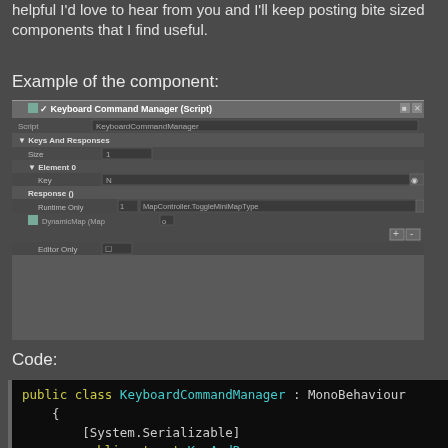helpful I'd love to hear from you and I'll keep posting bite sized components that I find useful.
Example of the component:
[Figure (screenshot): Unity Inspector screenshot showing Keyboard Command Manager (Script) component with Keys And Responses array, Element 0 with Key=N, Response list with RuntimeOnly entry showing MapController.ToggleMiniMapType, DynamicMap (Map), and Editor Only option.]
Code:
public class KeyboardCommandManager : MonoBehaviour
    {
        [System.Serializable]
        public struct KeyAndResponse
        {
            public KeyCode Key;
            public UnityEvent Response;
            public bool EditorOnly;
        }

        public KeyAndResponse[] KeysAndResponses;
        private List<KeyAndResponse> ActiveKeys;